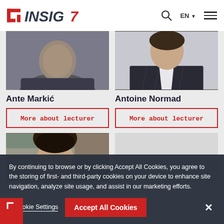[Figure (logo): INSIG7 logo with red and dark grey design]
[Figure (photo): Partial photo of Ante Markic, person in dark top, face partially cropped]
Ante Markić
More about lecturer
[Figure (photo): Photo of Antoine Normad, man in dark pinstripe suit with white shirt]
Antoine Normad
More about lecturer
[Figure (photo): Photo of person with dark hair, second row left]
[Figure (photo): Light grey placeholder image, second row right]
By continuing to browse or by clicking Accept All Cookies, you agree to the storing of first- and third-party cookies on your device to enhance site navigation, analyze site usage, and assist in our marketing efforts.
> Cookie Settings
Accept All Cookies
×